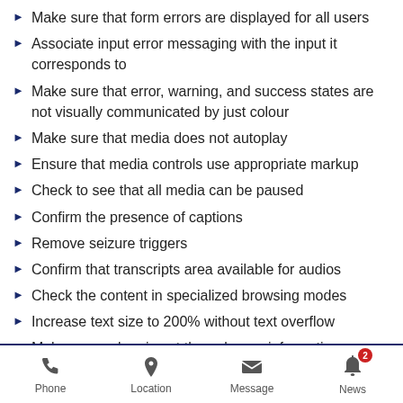Make sure that form errors are displayed for all users
Associate input error messaging with the input it corresponds to
Make sure that error, warning, and success states are not visually communicated by just colour
Make sure that media does not autoplay
Ensure that media controls use appropriate markup
Check to see that all media can be paused
Confirm the presence of captions
Remove seizure triggers
Confirm that transcripts area available for audios
Check the content in specialized browsing modes
Increase text size to 200% without text overflow
Make sure colour is not the only way information
Phone  Location  Message  News